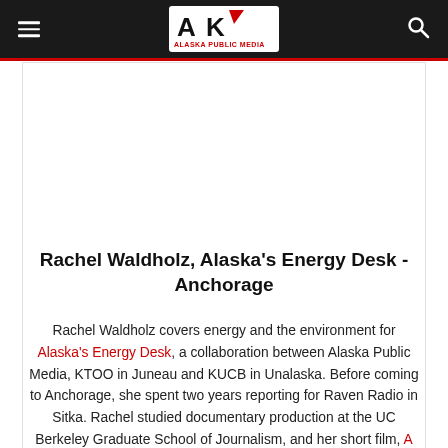Alaska Public Media – navigation bar with hamburger menu and search icon
[Figure (logo): Alaska Public Media logo: stylized AK letters in black and red with 'ALASKA PUBLIC MEDIA' text below]
Rachel Waldholz, Alaska's Energy Desk - Anchorage
Rachel Waldholz covers energy and the environment for Alaska's Energy Desk, a collaboration between Alaska Public Media, KTOO in Juneau and KUCB in Unalaska. Before coming to Anchorage, she spent two years reporting for Raven Radio in Sitka. Rachel studied documentary production at the UC Berkeley Graduate School of Journalism, and her short film, A Confused War won several awards. Her work has appeared on Morning Edition, All Things Considered, and Marketplace, among other outlets. rwaldholz (at)